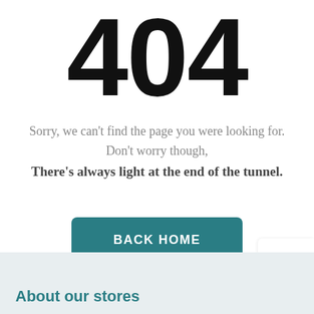404
Sorry, we can't find the page you were looking for. Don't worry though,
There's always light at the end of the tunnel.
BACK HOME
[Figure (logo): Citi Trends logo in teal text on white background]
About our stores